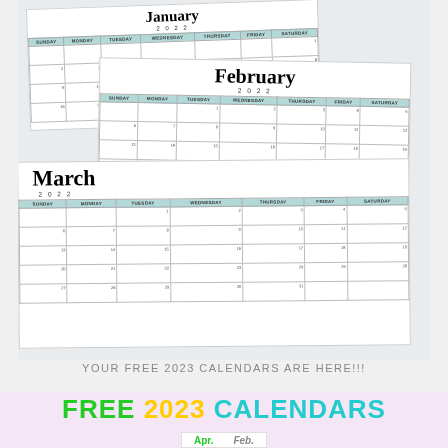[Figure (illustration): Three overlapping monthly calendar pages for January 2022, February 2022, and March 2022. Each calendar has a mint/teal header row for day names and a grid of date cells. The pages are arranged in a stacked, slightly angled layout on a light gray background.]
YOUR FREE 2023 CALENDARS ARE HERE!!!
FREE 2023 CALENDARS
Apr.   Feb.